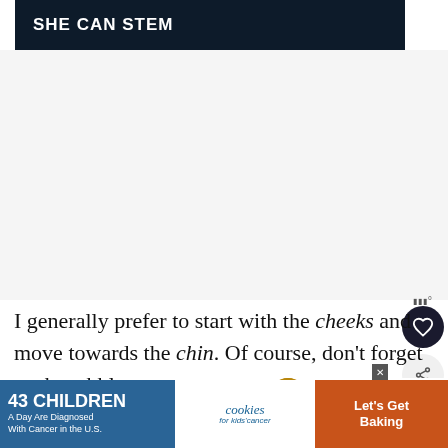[Figure (screenshot): Dark banner with white bold text 'SHE CAN STEM']
[Figure (screenshot): White/light gray empty advertisement space below banner]
I generally prefer to start with the cheeks and move towards the chin. Of course, don't forget neck stubble.
It's always a good idea to vary the length a little to
[Figure (screenshot): Advertisement banner at bottom: '43 CHILDREN A Day Are Diagnosed With Cancer in the U.S. / cookies for kids cancer / Let's Get Baking']